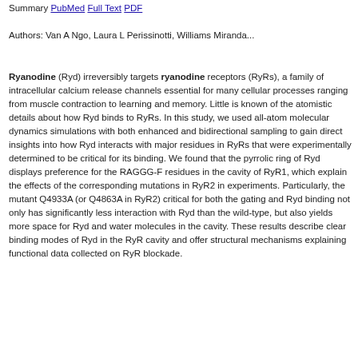Summary PubMed Full Text PDF
Authors: Van A Ngo, Laura L Perissinotti, Williams Miranda...
Ryanodine (Ryd) irreversibly targets ryanodine receptors (RyRs), a family of intracellular calcium release channels essential for many cellular processes ranging from muscle contraction to learning and memory. Little is known of the atomistic details about how Ryd binds to RyRs. In this study, we used all-atom molecular dynamics simulations with both enhanced and bidirectional sampling to gain direct insights into how Ryd interacts with major residues in RyRs that were experimentally determined to be critical for its binding. We found that the pyrrolic ring of Ryd displays preference for the RAGGG-F residues in the cavity of RyR1, which explain the effects of the corresponding mutations in RyR2 in experiments. Particularly, the mutant Q4933A (or Q4863A in RyR2) critical for both the gating and Ryd binding not only has significantly less interaction with Ryd than the wild-type, but also yields more space for Ryd and water molecules in the cavity. These results describe clear binding modes of Ryd in the RyR cavity and offer structural mechanisms explaining functional data collected on RyR blockade.